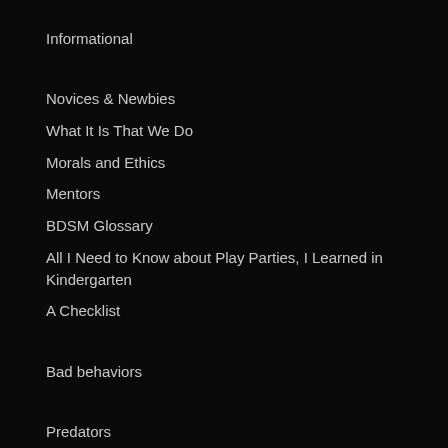Informational
Novices & Newbies
What It Is That We Do
Morals and Ethics
Mentors
BDSM Glossary
All I Need to Know about Play Parties, I Learned in Kindergarten
A Checklist
Bad behaviors
Predators
Sexual Predation
Narcisists
Sociopaths/Psychotics
Some essential reading by various people..
Sub Frenzies
A guide to finding that first Dom